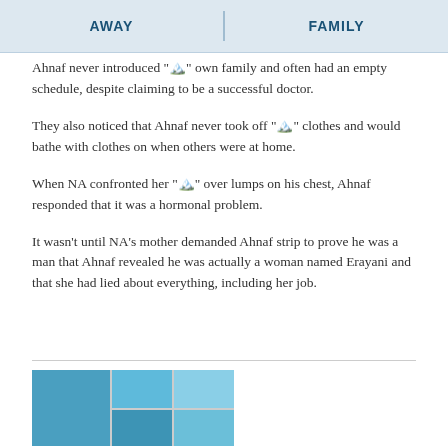AWAY | FAMILY
Ahnaf never introduced "山川" own family and often had an empty schedule, despite claiming to be a successful doctor.
They also noticed that Ahnaf never took off "山川" clothes and would bathe with clothes on when others were at home.
When NA confronted her "山川" over lumps on his chest, Ahnaf responded that it was a hormonal problem.
It wasn’t until NA’s mother demanded Ahnaf strip to prove he was a man that Ahnaf revealed he was actually a woman named Erayani and that she had lied about everything, including her job.
[Figure (photo): A grid of swimming pool photos showing a person in water, arranged in a collage of 5 panels.]